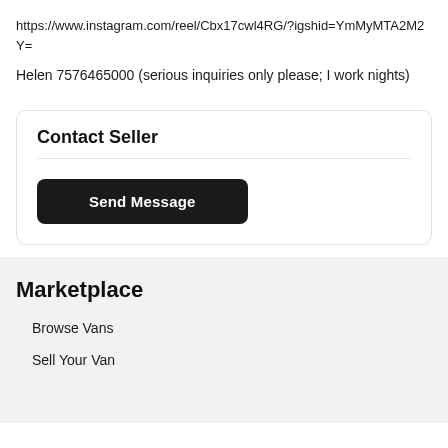https://www.instagram.com/reel/Cbx17cwl4RG/?igshid=YmMyMTA2M2Y=
Helen 7576465000 (serious inquiries only please; I work nights)
Contact Seller
[Figure (screenshot): Send Message button — dark rounded rectangle with white bold text]
Marketplace
Browse Vans
Sell Your Van